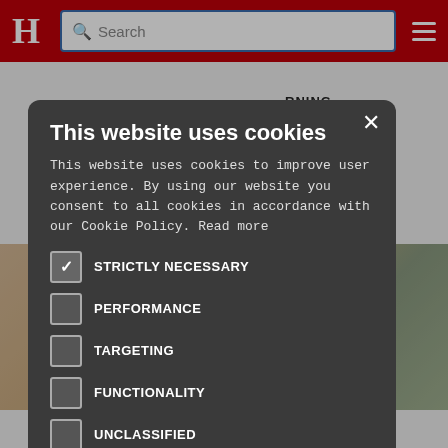[Figure (screenshot): Website header with red background, H logo, search bar, and hamburger menu]
This website uses cookies
This website uses cookies to improve user experience. By using our website you consent to all cookies in accordance with our Cookie Policy. Read more
STRICTLY NECESSARY
PERFORMANCE
TARGETING
FUNCTIONALITY
UNCLASSIFIED
ACCEPT ALL
DECLINE ALL
SHOW DETAILS